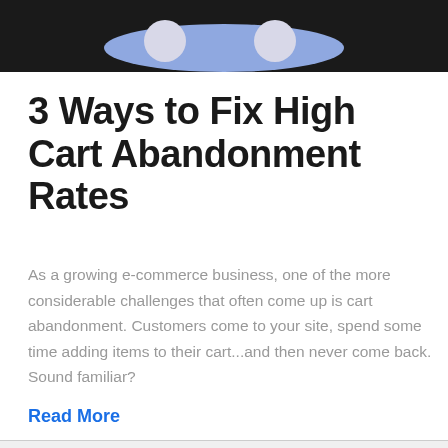[Figure (illustration): Dark banner header with a blue/lavender ellipse shape and two light grey circles, resembling a stylized alien or character face peeking over the top of the page.]
3 Ways to Fix High Cart Abandonment Rates
As a growing e-commerce business, one of the more considerable challenges that often come up is cart abandonment. Customers come to your site, spend some time adding items to their cart...and then never come back. Sound familiar?
Read More
TEXT COMMERCE
SMS SERVICE
MARKETING SOFTWARE